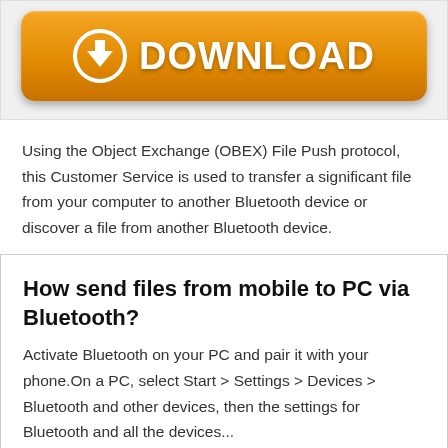[Figure (illustration): Orange download button with a downward arrow circle icon and the text DOWNLOAD in white bold letters on an orange gradient rounded rectangle background]
Using the Object Exchange (OBEX) File Push protocol, this Customer Service is used to transfer a significant file from your computer to another Bluetooth device or discover a file from another Bluetooth device.
How send files from mobile to PC via Bluetooth?
Activate Bluetooth on your PC and pair it with your phone.On a PC, select Start > Settings > Devices > Bluetooth and other devices, then the settings for Bluetooth and all the devices...